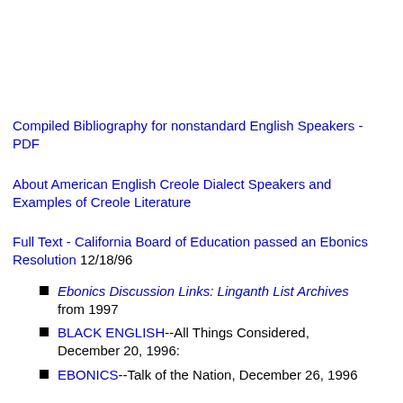Compiled Bibliography for nonstandard English Speakers - PDF
About American English Creole Dialect Speakers and Examples of Creole Literature
Full Text - California Board of Education passed an Ebonics Resolution 12/18/96
Ebonics Discussion Links: Linganth List Archives from 1997
BLACK ENGLISH--All Things Considered, December 20, 1996:
EBONICS--Talk of the Nation, December 26, 1996